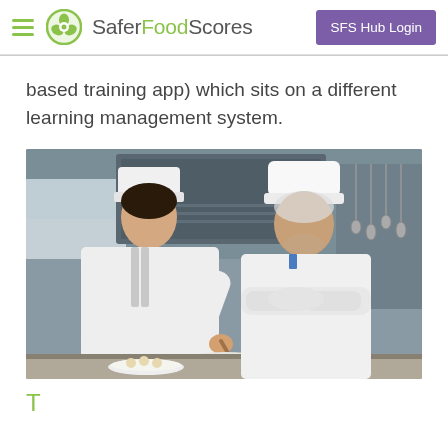SaferFoodScores — SFS Hub Login
based training app) which sits on a different learning management system.
[Figure (photo): Two chefs in white uniforms and chef hats in a professional kitchen. One chef is stirring food in a bowl while the other stands with arms crossed watching.]
T